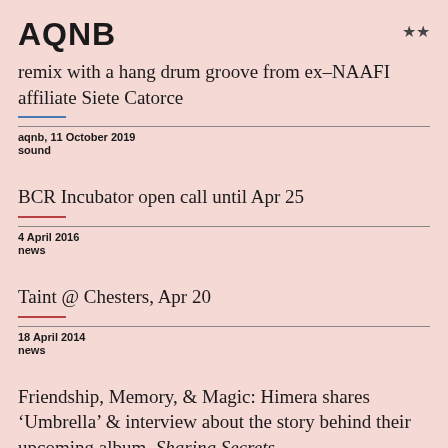AQNB
remix with a hang drum groove from ex-NAAFI affiliate Siete Catorce
aqnb, 11 October 2019
sound
BCR Incubator open call until Apr 25
4 April 2016
news
Taint @ Chesters, Apr 20
18 April 2014
news
Friendship, Memory, & Magic: Himera shares ‘Umbrella’ & interview about the story behind their upcoming album, Sharing Secrets